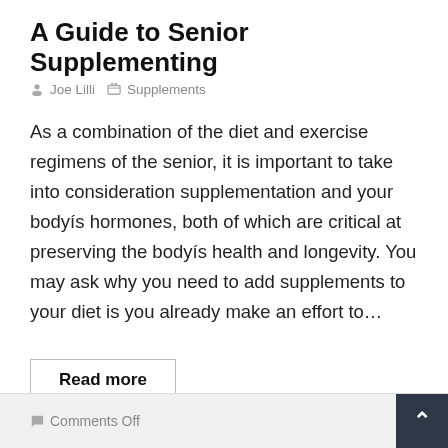A Guide to Senior Supplementing
Joe Lilli   Supplements
As a combination of the diet and exercise regimens of the senior, it is important to take into consideration supplementation and your bodyís hormones, both of which are critical at preserving the bodyís health and longevity. You may ask why you need to add supplements to your diet is you already make an effort to...
Read more
Comments Off